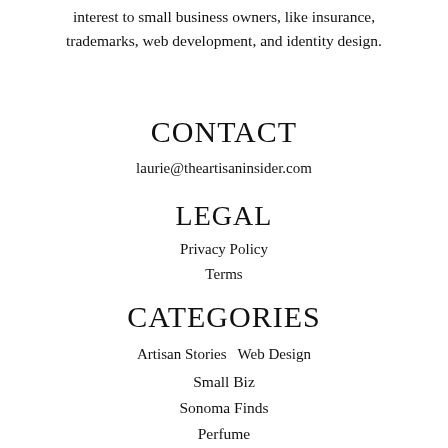interest to small business owners, like insurance, trademarks, web development, and identity design.
CONTACT
laurie@theartisaninsider.com
LEGAL
Privacy Policy
Terms
CATEGORIES
Artisan Stories / Web Design
Small Biz
Sonoma Finds
Perfume